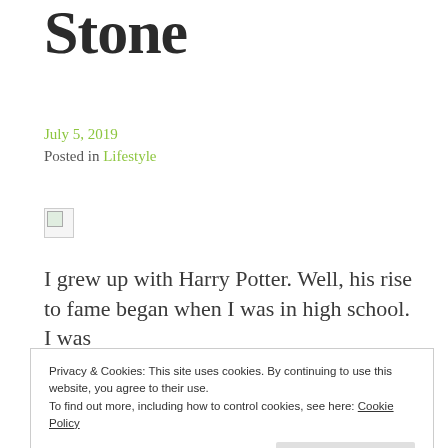Stone
July 5, 2019
Posted in Lifestyle
[Figure (other): Broken image placeholder icon]
I grew up with Harry Potter. Well, his rise to fame began when I was in high school. I was
Privacy & Cookies: This site uses cookies. By continuing to use this website, you agree to their use.
To find out more, including how to control cookies, see here: Cookie Policy
Harry Potter novel, until now